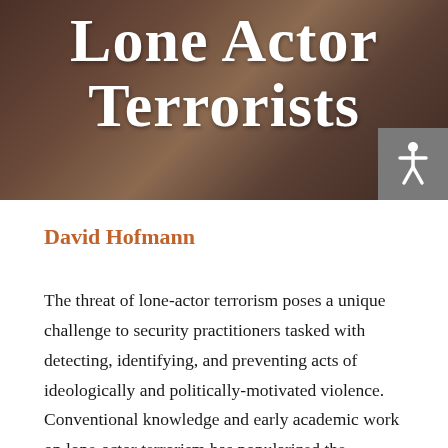Lone Actor Terrorists
[Figure (photo): Header background image with wooden/brown tones, partially visible book spines or wood texture]
David Hofmann
The threat of lone-actor terrorism poses a unique challenge to security practitioners tasked with detecting, identifying, and preventing acts of ideologically and politically-motivated violence. Conventional knowledge and early academic work on lone-actor terrorism has popularized the concept that these individuals radicalize, operate, plan, and execute terrorist plots in relative anonymity, with little connection to formal or more organized terrorist groups and networks. However, the growing scholarship in this area has begun to challenge the accuracy of these lone actor claims...